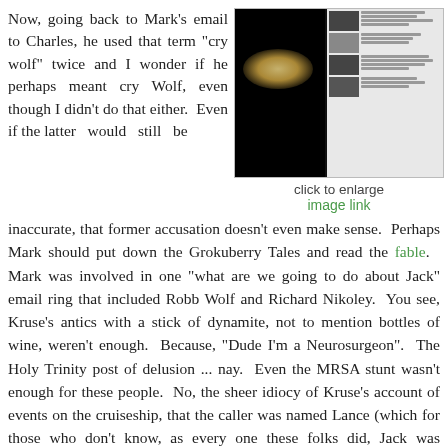Now, going back to Mark's email to Charles, he used that term "cry wolf" twice and I wonder if he perhaps meant cry Wolf, even though I didn't do that either.  Even if the latter  would  still  be
[Figure (screenshot): Screenshot showing a webpage with a dark image on the left of performers/silhouettes and a list of links/thumbnails on the right side]
click to enlarge
image link
inaccurate, that former accusation doesn't even make sense.  Perhaps Mark should put down the Grokuberry Tales and read the fable.  Mark was involved in one "what are we going to do about Jack" email ring that included Robb Wolf and Richard Nikoley.  You see, Kruse's antics with a stick of dynamite, not to mention bottles of wine, weren't enough.  Because, "Dude I'm a Neurosurgeon".  The Holy Trinity post of delusion ... nay.  Even the MRSA stunt wasn't enough for these people.  No, the sheer idiocy of Kruse's account of events on the cruiseship, that the caller was named Lance (which for those who don't know, as every one these folks did, Jack was obsessed with Lance Armstrong and this was just a bit too coincidental)